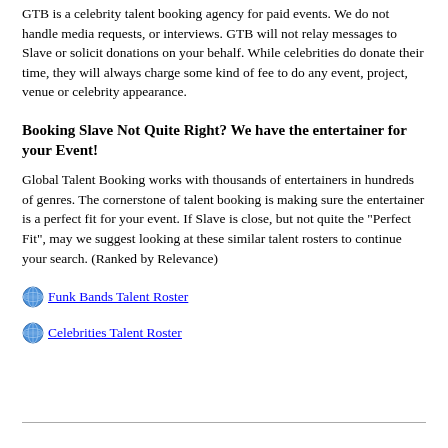GTB is a celebrity talent booking agency for paid events. We do not handle media requests, or interviews. GTB will not relay messages to Slave or solicit donations on your behalf. While celebrities do donate their time, they will always charge some kind of fee to do any event, project, venue or celebrity appearance.
Booking Slave Not Quite Right? We have the entertainer for your Event!
Global Talent Booking works with thousands of entertainers in hundreds of genres. The cornerstone of talent booking is making sure the entertainer is a perfect fit for your event. If Slave is close, but not quite the "Perfect Fit", may we suggest looking at these similar talent rosters to continue your search. (Ranked by Relevance)
Funk Bands Talent Roster
Celebrities Talent Roster